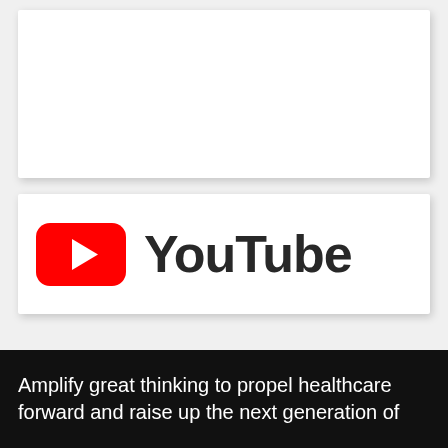[Figure (other): White card area, mostly blank/empty, top portion of document page]
[Figure (logo): YouTube logo consisting of red rounded-rectangle play button icon and the word 'YouTube' in dark gray bold text]
Amplify great thinking to propel healthcare forward and raise up the next generation of